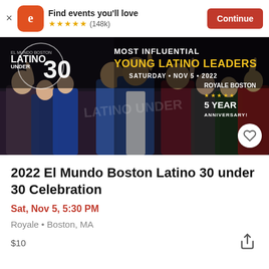Find events you'll love ★★★★★ (148k) Continue
[Figure (photo): Event banner showing a group of people celebrating at 2022 El Mundo Boston Latino Under 30 Most Influential Young Latino Leaders event. Text on image: LATINO UNDER 30, MOST INFLUENTIAL YOUNG LATINO LEADERS, SATURDAY • NOV 5 • 2022, ROYALE BOSTON, ★★★★★ 5 YEAR ANNIVERSARY!]
2022 El Mundo Boston Latino 30 under 30 Celebration
Sat, Nov 5, 5:30 PM
Royale • Boston, MA
$10